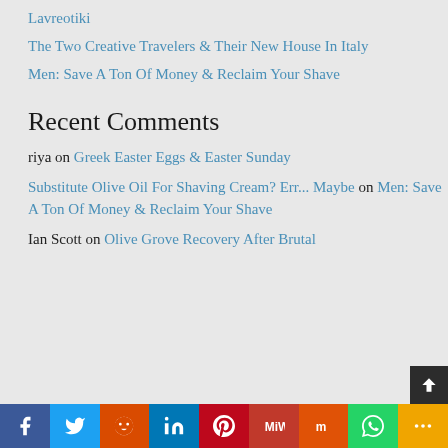Lavreotiki
The Two Creative Travelers & Their New House In Italy
Men: Save A Ton Of Money & Reclaim Your Shave
Recent Comments
riya on Greek Easter Eggs & Easter Sunday
Substitute Olive Oil For Shaving Cream? Err... Maybe on Men: Save A Ton Of Money & Reclaim Your Shave
Ian Scott on Olive Grove Recovery After Brutal